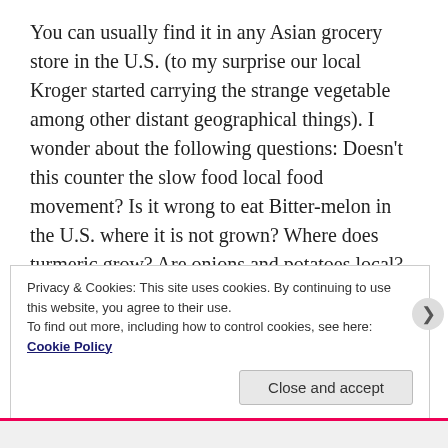You can usually find it in any Asian grocery store in the U.S. (to my surprise our local Kroger started carrying the strange vegetable among other distant geographical things). I wonder about the following questions: Doesn't this counter the slow food local food movement? Is it wrong to eat Bitter-melon in the U.S. where it is not grown? Where does turmeric grow? Are onions and potatoes local? How are these ingredients grown? What is their history? How did people start eating bitter-melon anyway? How far is your grocery store? How are you getting there? What makes it possible for all the ingredients to be available? What
Privacy & Cookies: This site uses cookies. By continuing to use this website, you agree to their use.
To find out more, including how to control cookies, see here: Cookie Policy
Close and accept